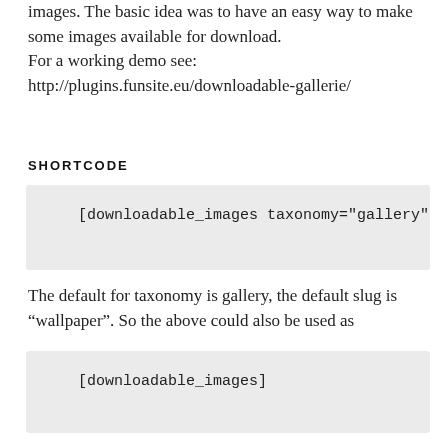images. The basic idea was to have an easy way to make some images available for download.
For a working demo see:
http://plugins.funsite.eu/downloadable-gallerie/
SHORTCODE
[downloadable_images taxonomy="gallery" s…
The default for taxonomy is gallery, the default slug is “wallpaper”. So the above could also be used as
[downloadable_images]
I use this plugin together with “Enhanced Media